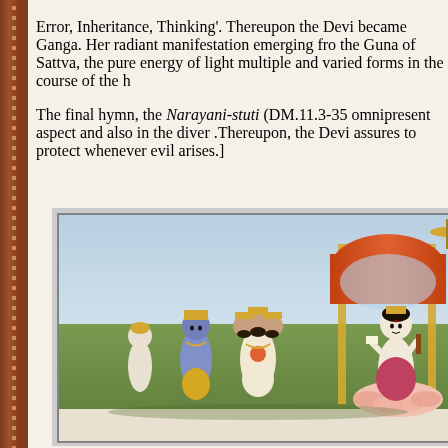Error, Inheritance, Thinking'. Thereupon the Devi became Ganga. Her radiant manifestation emerging from the Guna of Sattva, the pure energy of light and takes multiple and varied forms in the course of the history.
The final hymn, the Narayani-stuti (DM.11.3-35) praises her omnipresent aspect and also in the diverse manifestations. .Thereupon, the Devi assures to protect the world whenever evil arises.]
[Figure (illustration): A traditional Indian miniature painting depicting divine figures. On the right, a goddess (Devi) sits on a lotus flower under an ornate red arch/canopy, holding attributes. On the left stand several male figures with crowns and ornaments, including a multi-headed Brahma figure and blue-skinned Vishnu, appearing to make offerings or supplications.]